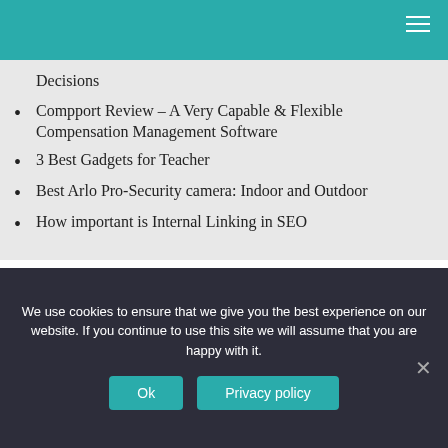Decisions
Compport Review – A Very Capable & Flexible Compensation Management Software
3 Best Gadgets for Teacher
Best Arlo Pro-Security camera: Indoor and Outdoor
How important is Internal Linking in SEO
[Figure (photo): Dark night sky with stars and text reading HOMEWORK]
We use cookies to ensure that we give you the best experience on our website. If you continue to use this site we will assume that you are happy with it.